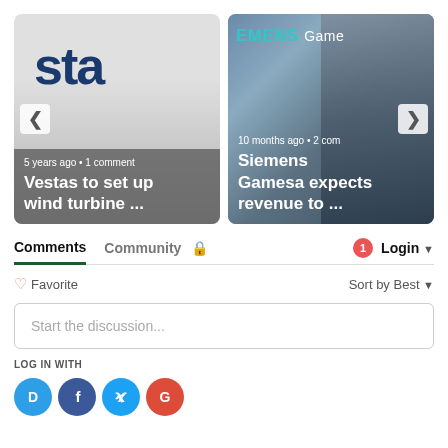[Figure (screenshot): Carousel with two article cards. Left card: Vestas logo background, text '5 years ago • 1 comment', headline 'Vestas to set up wind turbine ...'. Right card: Siemens Gamesa photo background, text '10 months ago • 2 com', headline 'Siemens Gamesa expects revenue to ...'. Left arrow and right arrow navigation buttons visible.]
Comments
Community
1
Login
Favorite
Sort by Best
Start the discussion...
LOG IN WITH
[Figure (logo): Disqus logo icon - blue circle with D letter]
[Figure (logo): Facebook logo icon - dark blue circle with f letter]
[Figure (logo): Twitter logo icon - light blue circle with bird/t letter]
[Figure (logo): Google logo icon - red circle with G letter]